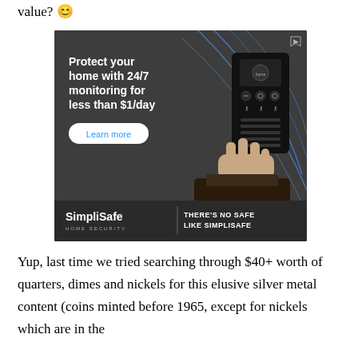value? 😊
[Figure (illustration): SimpliSafe advertisement showing a hand pressing a security keypad. Text reads: 'Protect your home with 24/7 monitoring for less than $1/day' with a 'Learn more' button. Bottom shows SimpliSafe HOME SECURITY logo and tagline 'THERE'S NO SAFE LIKE SIMPLISAFE'.]
Yup, last time we tried searching through $40+ worth of quarters, dimes and nickels for this elusive silver metal content (coins minted before 1965, except for nickels which are in the